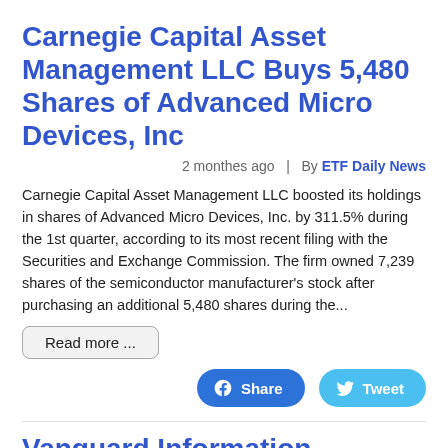Carnegie Capital Asset Management LLC Buys 5,480 Shares of Advanced Micro Devices, Inc
2 monthes ago  |  By ETF Daily News
Carnegie Capital Asset Management LLC boosted its holdings in shares of Advanced Micro Devices, Inc. by 311.5% during the 1st quarter, according to its most recent filing with the Securities and Exchange Commission. The firm owned 7,239 shares of the semiconductor manufacturer's stock after purchasing an additional 5,480 shares during the...
Read more ...
Vanguard Information Technology ETF Shares Sold by Carnegie Capital Asset Management LLC